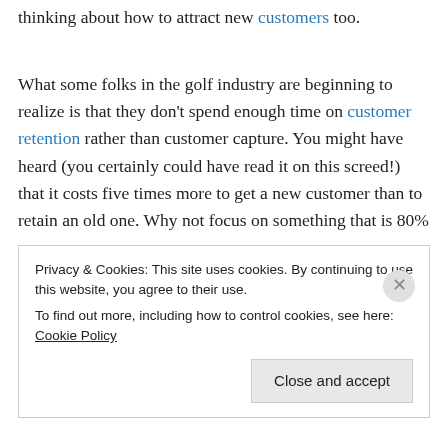thinking about how to attract new customers too.
What some folks in the golf industry are beginning to realize is that they don't spend enough time on customer retention rather than customer capture. You might have heard (you certainly could have read it on this screed!) that it costs five times more to get a new customer than to retain an old one. Why not focus on something that is 80%
Privacy & Cookies: This site uses cookies. By continuing to use this website, you agree to their use.
To find out more, including how to control cookies, see here: Cookie Policy